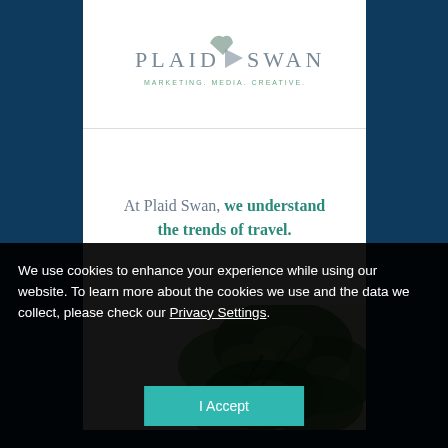[Figure (logo): Plaid Swan logo with swan/arrow icon. Text reads 'PLAID SWAN' in grey with tagline 'MARKETING. MEDIA. CREATIVE.' in teal/green below.]
At Plaid Swan, we understand the trends of travel.
[Figure (photo): Photo of green potted plants (pothos/philodendron) against a light background.]
We use cookies to enhance your experience while using our website. To learn more about the cookies we use and the data we collect, please check our Privacy Settings.
I Accept